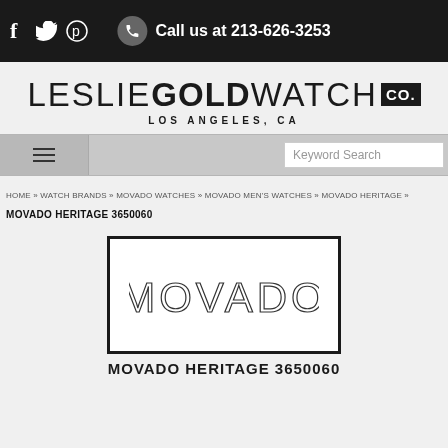f  🐦   pinterest  |  Call us at 213-626-3253
[Figure (logo): Leslie Gold Watch Co. logo with LOS ANGELES, CA subtitle]
Hamburger menu | Keyword Search
HOME » WATCH BRANDS » MOVADO WATCHES » MOVADO MEN'S WATCHES » MOVADO HERITAGE »
MOVADO HERITAGE 3650060
[Figure (logo): Movado brand logo in thin letters inside a rectangular border]
MOVADO HERITAGE 3650060